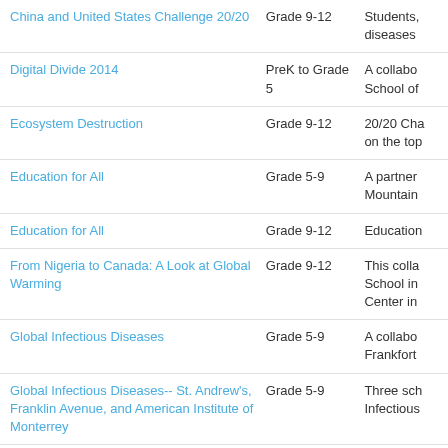|  |  |  |
| --- | --- | --- |
| China and United States Challenge 20/20 | Grade 9-12 | Students, diseases |
| Digital Divide 2014 | PreK to Grade 5 | A collabo School of |
| Ecosystem Destruction | Grade 9-12 | 20/20 Cha on the top |
| Education for All | Grade 5-9 | A partner Mountain |
| Education for All | Grade 9-12 | Education |
| From Nigeria to Canada: A Look at Global Warming | Grade 9-12 | This colla School in Center in |
| Global Infectious Diseases | Grade 5-9 | A collabo Frankfort |
| Global Infectious Diseases-- St. Andrew's, Franklin Avenue, and American Institute of Monterrey | Grade 5-9 | Three sch Infectious |
| Global Warming | Grade 9-12 | This is a c School, Sa studying |
| Global Warming Collaboration | Grade 5-9 | NAIS Chal |
| GlobalChallenge | Grade 5-9 | Deforesta |